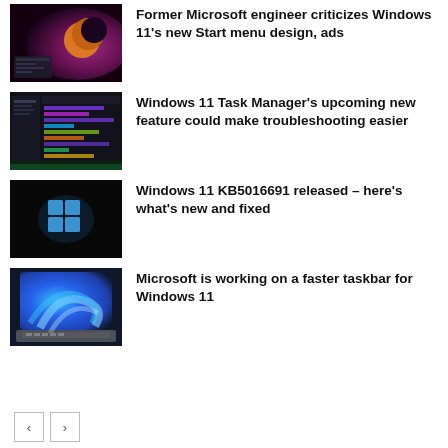[Figure (photo): Dark desktop with purple/orange crescent moon Windows wallpaper]
Former Microsoft engineer criticizes Windows 11's new Start menu design, ads
[Figure (photo): Dark Windows Task Manager screenshot with colorful process bars]
Windows 11 Task Manager's upcoming new feature could make troubleshooting easier
[Figure (photo): Dark background with Windows 11 logo glowing blue]
Windows 11 KB5016691 released – here's what's new and fixed
[Figure (photo): Laptop showing Windows 11 blue swirl wallpaper]
Microsoft is working on a faster taskbar for Windows 11